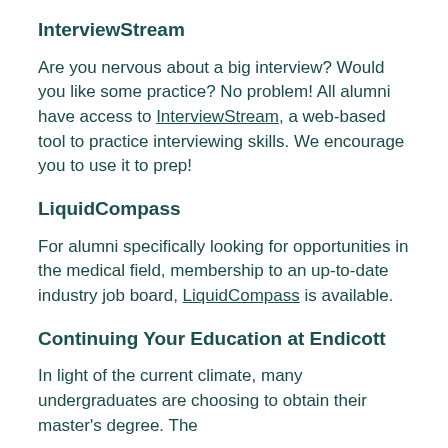InterviewStream
Are you nervous about a big interview? Would you like some practice? No problem! All alumni have access to InterviewStream, a web-based tool to practice interviewing skills. We encourage you to use it to prep!
LiquidCompass
For alumni specifically looking for opportunities in the medical field, membership to an up-to-date industry job board, LiquidCompass is available.
Continuing Your Education at Endicott
In light of the current climate, many undergraduates are choosing to obtain their master's degree. The